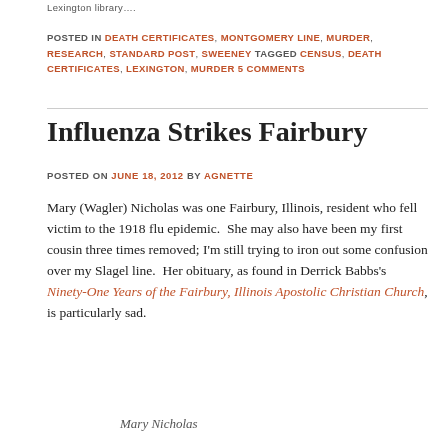Lexington library….
POSTED IN DEATH CERTIFICATES, MONTGOMERY LINE, MURDER, RESEARCH, STANDARD POST, SWEENEY TAGGED CENSUS, DEATH CERTIFICATES, LEXINGTON, MURDER 5 COMMENTS
Influenza Strikes Fairbury
POSTED ON JUNE 18, 2012 BY AGNETTE
Mary (Wagler) Nicholas was one Fairbury, Illinois, resident who fell victim to the 1918 flu epidemic.  She may also have been my first cousin three times removed; I'm still trying to iron out some confusion over my Slagel line.  Her obituary, as found in Derrick Babbs's Ninety-One Years of the Fairbury, Illinois Apostolic Christian Church, is particularly sad.
Mary Nicholas